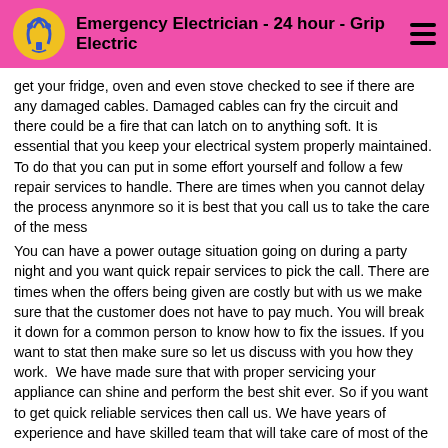Emergency Electrician - 24 hour - Grip Electric
get your fridge, oven and even stove checked to see if there are any damaged cables. Damaged cables can fry the circuit and there could be a fire that can latch on to anything soft. It is essential that you keep your electrical system properly maintained. To do that you can put in some effort yourself and follow a few repair services to handle. There are times when you cannot delay the process anynmore so it is best that you call us to take the care of the mess
You can have a power outage situation going on during a party night and you want quick repair services to pick the call. There are times when the offers being given are costly but with us we make sure that the customer does not have to pay much. You will break it down for a common person to know how to fix the issues. If you want to stat then make sure so let us discuss with you how they work.  We have made sure that with proper servicing your appliance can shine and perform the best shit ever. So if you want to get quick reliable services then call us. We have years of experience and have skilled team that will take care of most of the managers.
If you have a business but you are having issues with the lighting then make sure that you get Copyright services help the finest if y electrical service. You can always read the terms to get to know more about the electrical services of any expert